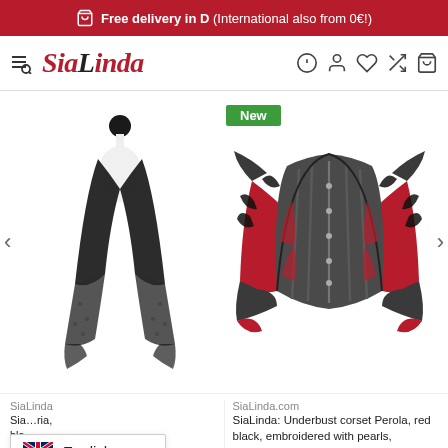Free delivery in D (International also from 0€!)
[Figure (logo): SiaLinda navigation bar with logo, hamburger/search icon, and nav icons (help, account, wishlist, compare, cart)]
[Figure (photo): Black lace vest/jacket on a mannequin stand, displayed on white background]
[Figure (photo): Underbust corset Perola, red black, embroidered with pearls, premium collection — dark gray and red corset with black embroidery]
SiaLinda
SiaLinda: Sial… Victoria, black
4 Bewertungen
SiaLinda.com
SiaLinda: Underbust corset Perola, red black, embroidered with pearls, premium collection
[Figure (screenshot): Language selector overlay showing English with UK flag]